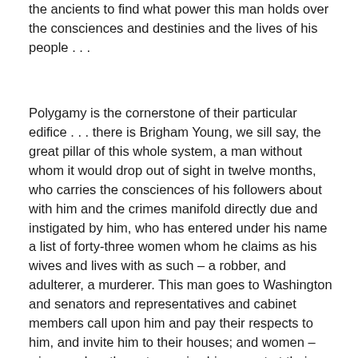the ancients to find what power this man holds over the consciences and destinies and the lives of his people . . .
Polygamy is the cornerstone of their particular edifice . . . there is Brigham Young, we sill say, the great pillar of this whole system, a man without whom it would drop out of sight in twelve months, who carries the consciences of his followers about with him and the crimes manifold directly due and instigated by him, who has entered under his name a list of forty-three women whom he claims as his wives and lives with as such – a robber, and adulterer, a murderer. This man goes to Washington and senators and representatives and cabinet members call upon him and pay their respects to him, and invite him to their houses; and women – wives and mothers, too – give him a seat at their table and a place beside their daughters. Reverse the case: Suppose it was a woman who stood in Brigham Young's place – nay, suppose it were even one of the forth-three wretched dupes whom he has gathered in his home – suppose that *Not a